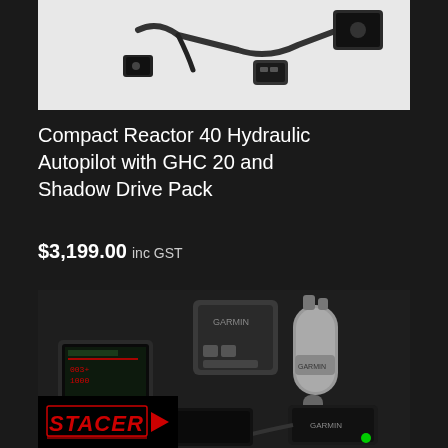[Figure (photo): Product photo of Compact Reactor 40 Hydraulic Autopilot accessories including cables and connectors on white background]
Compact Reactor 40 Hydraulic Autopilot with GHC 20 and Shadow Drive Pack
$3,199.00 inc GST
[Figure (photo): Product photo showing full Compact Reactor 40 Hydraulic Autopilot bundle including GHC 20 display unit, pump, control unit, sensors and cables on dark background. Stacer logo visible in bottom left corner.]